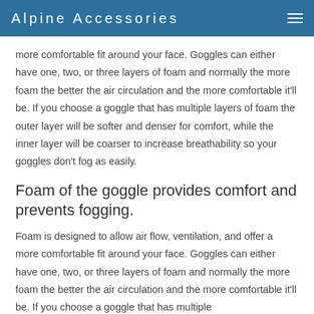Alpine Accessories
more comfortable fit around your face. Goggles can either have one, two, or three layers of foam and normally the more foam the better the air circulation and the more comfortable it'll be. If you choose a goggle that has multiple layers of foam the outer layer will be softer and denser for comfort, while the inner layer will be coarser to increase breathability so your goggles don't fog as easily.
Foam of the goggle provides comfort and prevents fogging.
Foam is designed to allow air flow, ventilation, and offer a more comfortable fit around your face. Goggles can either have one, two, or three layers of foam and normally the more foam the better the air circulation and the more comfortable it'll be. If you choose a goggle that has multiple